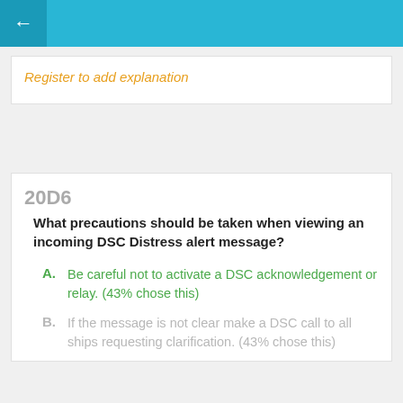← (back button)
Register to add explanation
20D6
What precautions should be taken when viewing an incoming DSC Distress alert message?
A. Be careful not to activate a DSC acknowledgement or relay. (43% chose this)
B. If the message is not clear make a DSC call to all ships requesting clarification. (43% chose this)